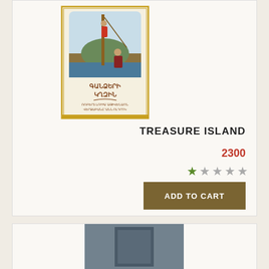[Figure (illustration): Book cover of 'Treasure Island' in Armenian language (Գանձերի կղզին). Shows a pirate adventure scene illustration with a figure climbing a pole/mast, with Armenian text and golden decorative border on a cream background.]
TREASURE ISLAND
2300
[Figure (other): Star rating: 1 filled star, 4 empty stars (1 out of 5 rating)]
ADD TO CART
[Figure (photo): Partial view of another product card at the bottom of the page, showing a gray/blue toned book cover image (partially visible)]